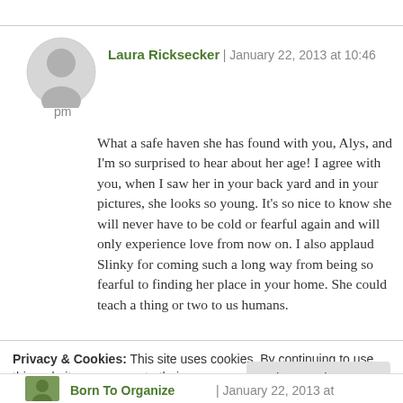Laura Ricksecker | January 22, 2013 at 10:46 pm
What a safe haven she has found with you, Alys, and I'm so surprised to hear about her age! I agree with you, when I saw her in your back yard and in your pictures, she looks so young. It's so nice to know she will never have to be cold or fearful again and will only experience love from now on. I also applaud Slinky for coming such a long way from being so fearful to finding her place in your home. She could teach a thing or two to us humans.
Privacy & Cookies: This site uses cookies. By continuing to use this website, you agree to their use.
To find out more, including how to control cookies, see here: Cookie Policy
Close and accept
Born To Organize | January 22, 2013 at